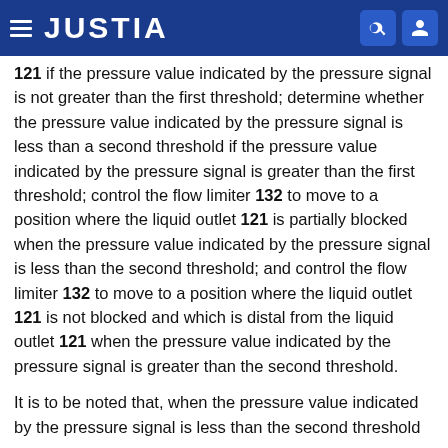JUSTIA
121 if the pressure value indicated by the pressure signal is not greater than the first threshold; determine whether the pressure value indicated by the pressure signal is less than a second threshold if the pressure value indicated by the pressure signal is greater than the first threshold; control the flow limiter 132 to move to a position where the liquid outlet 121 is partially blocked when the pressure value indicated by the pressure signal is less than the second threshold; and control the flow limiter 132 to move to a position where the liquid outlet 121 is not blocked and which is distal from the liquid outlet 121 when the pressure value indicated by the pressure signal is greater than the second threshold.
It is to be noted that, when the pressure value indicated by the pressure signal is less than the second threshold